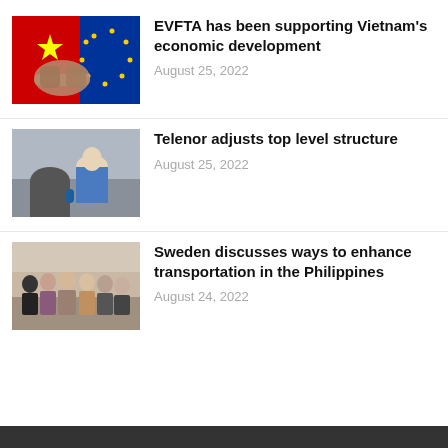[Figure (photo): Handshake in front of Vietnamese and EU flags]
EVFTA has been supporting Vietnam's economic development
August 25, 2022
[Figure (photo): Two men talking outdoors, one seen from behind]
Telenor adjusts top level structure
August 25, 2022
[Figure (photo): Group of people standing together indoors]
Sweden discusses ways to enhance transportation in the Philippines
August 24, 2022